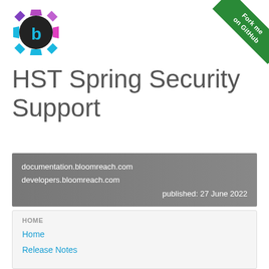[Figure (logo): Bloomreach gear logo with letter b, colorful purple/blue/cyan gradient]
[Figure (illustration): Green diagonal ribbon banner in top-right corner with text 'Fork me on GitHub']
HST Spring Security Support
documentation.bloomreach.com
developers.bloomreach.com
published: 27 June 2022
HOME
Home
Release Notes
USAGE
Installation
Configuration